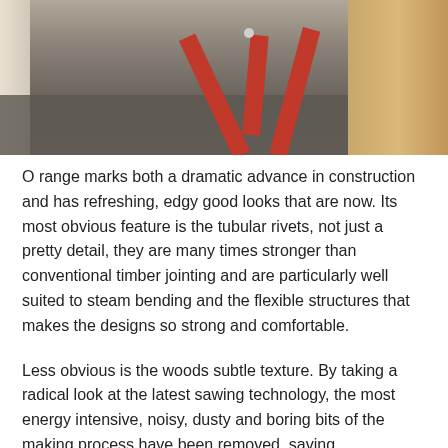[Figure (photo): Photo of furniture with red A-frame metal legs and wooden blocks on a dark grey tiled floor]
O range marks both a dramatic advance in construction and has refreshing, edgy good looks that are now. Its most obvious feature is the tubular rivets, not just a pretty detail, they are many times stronger than conventional timber jointing and are particularly well suited to steam bending and the flexible structures that makes the designs so strong and comfortable.
Less obvious is the woods subtle texture. By taking a radical look at the latest sawing technology, the most energy intensive, noisy, dusty and boring bits of the making process have been removed, saving